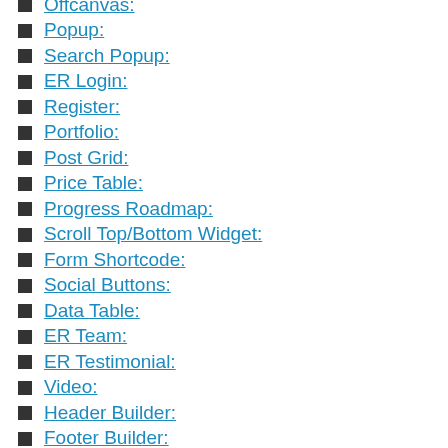Offcanvas:
Popup:
Search Popup:
ER Login:
Register:
Portfolio:
Post Grid:
Price Table:
Progress Roadmap:
Scroll Top/Bottom Widget:
Form Shortcode:
Social Buttons:
Data Table:
ER Team:
ER Testimonial:
Video:
Header Builder:
Footer Builder:
Mega Menu: